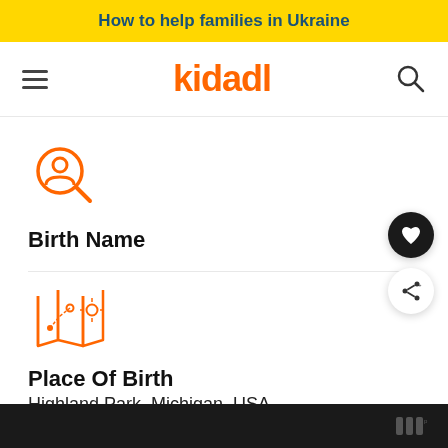How to help families in Ukraine
[Figure (logo): Kidadl logo with hamburger menu and search icon navigation bar]
[Figure (illustration): Orange person/search icon representing Birth Name]
Birth Name
[Figure (illustration): Orange map/location icon representing Place Of Birth]
Place Of Birth
Highland Park, Michigan, USA